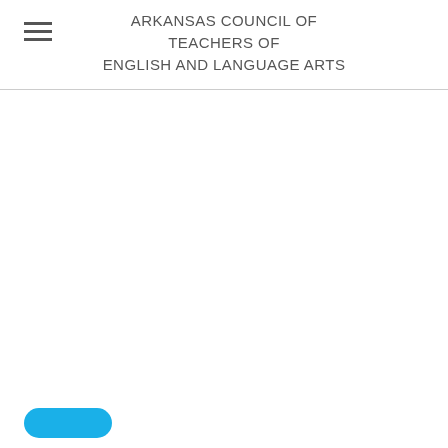ARKANSAS COUNCIL OF TEACHERS OF ENGLISH AND LANGUAGE ARTS